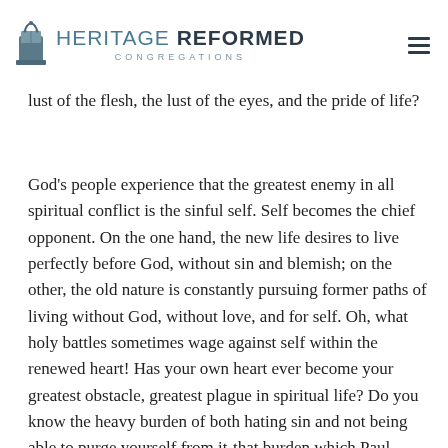HERITAGE REFORMED CONGREGATIONS
lust of the flesh, the lust of the eyes, and the pride of life?
God's people experience that the greatest enemy in all spiritual conflict is the sinful self. Self becomes the chief opponent. On the one hand, the new life desires to live perfectly before God, without sin and blemish; on the other, the old nature is constantly pursuing former paths of living without God, without love, and for self. Oh, what holy battles sometimes wage against self within the renewed heart! Has your own heart ever become your greatest obstacle, greatest plague in spiritual life? Do you know the heavy burden of both hating sin and not being able to purge yourself from it-that burden which Paul unveils so movingly